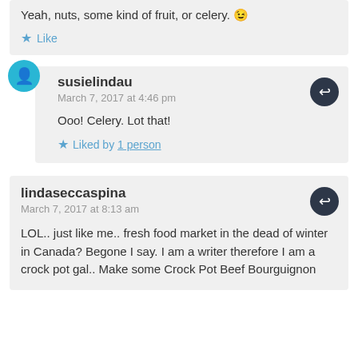Yeah, nuts, some kind of fruit, or celery. 😉
Like
susielindau
March 7, 2017 at 4:46 pm
Ooo! Celery. Lot that!
Liked by 1 person
lindaseccaspina
March 7, 2017 at 8:13 am
LOL.. just like me.. fresh food market in the dead of winter in Canada? Begone I say. I am a writer therefore I am a crock pot gal.. Make some Crock Pot Beef Bourguignon